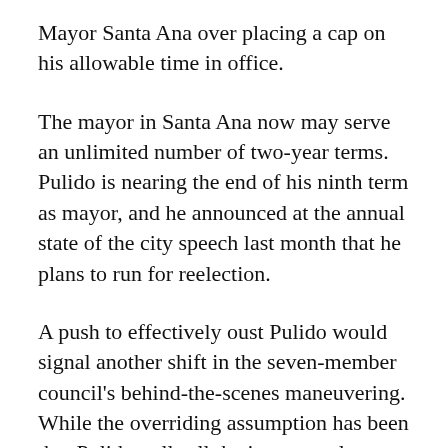Mayor Santa Ana over placing a cap on his allowable time in office.
The mayor in Santa Ana now may serve an unlimited number of two-year terms. Pulido is nearing the end of his ninth term as mayor, and he announced at the annual state of the city speech last month that he plans to run for reelection.
A push to effectively oust Pulido would signal another shift in the seven-member council's behind-the-scenes maneuvering. While the overriding assumption has been that Pulido pulls all the important levers at City Hall, the political dynamics in recent